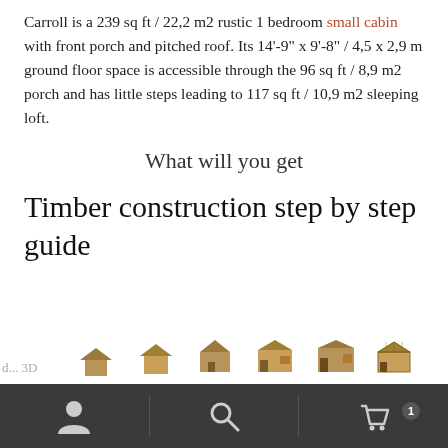Carroll is a 239 sq ft / 22,2 m2 rustic 1 bedroom small cabin with front porch and pitched roof. Its 14'-9" x 9'-8" / 4,5 x 2,9 m ground floor space is accessible through the 96 sq ft / 8,9 m2 porch and has little steps leading to 117 sq ft / 10,9 m2 sleeping loft.
What will you get
Timber construction step by step guide
[Figure (illustration): Row of small cabin construction step-by-step illustrations in various stages of build, shown as small 3D wooden cabin models]
Navigation bar with user icon, search icon, and shopping cart icon with badge showing 1